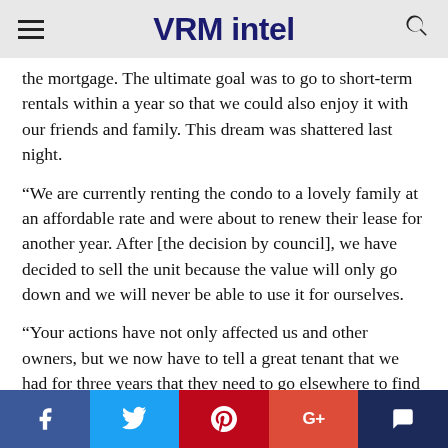VRM intel
the mortgage. The ultimate goal was to go to short-term rentals within a year so that we could also enjoy it with our friends and family. This dream was shattered last night.
“We are currently renting the condo to a lovely family at an affordable rate and were about to renew their lease for another year. After [the decision by council], we have decided to sell the unit because the value will only go down and we will never be able to use it for ourselves.
“Your actions have not only affected us and other owners, but we now have to tell a great tenant that we had for three years that they need to go elsewhere to find a rental.”
The council is also considering sending a ballot measure to
f  Twitter  Pinterest  G+  Comment